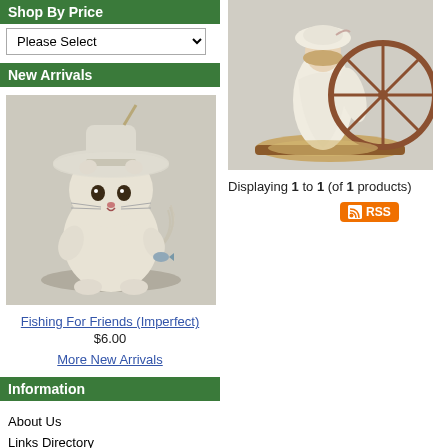Shop By Price
Please Select
New Arrivals
[Figure (photo): Ceramic cat figurine wearing a wide brim hat, holding a small item, on gray background]
Fishing For Friends (Imperfect)
$6.00
More New Arrivals
Information
About Us
Links Directory
Affiliate Program
Reference Information
[Figure (photo): Ceramic figurine of a woman in white dress with large wheel, on sandy base]
Displaying 1 to 1 (of 1 products)